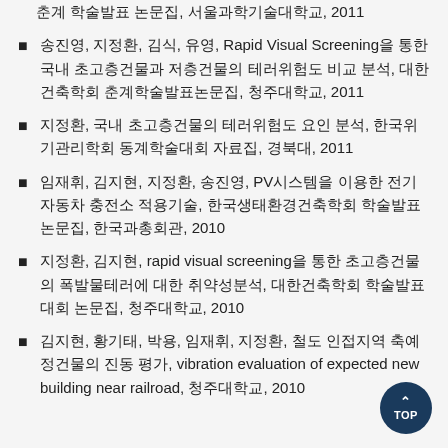춘계 학술발표 논문집, 서울과학기술대학교, 2011
송진영, 지정환, 김식, 유영, Rapid Visual Screening을 통한 국내 초고층건물과 저층건물의 테러위험도 비교 분석, 대한건축학회 춘계학술발표논문집, 청주대학교, 2011
지정환, 국내 초고층건물의 테러위험도 요인 분석, 한국위기관리학회 동계학술대회 자료집, 경북대, 2011
임재휘, 김지현, 지정환, 송진영, PV시스템을 이용한 전기자동차 충전소 적용기술, 한국생태환경건축학회 학술발표논문집, 한국과총회관, 2010
지정환, 김지현, rapid visual screening을 통한 초고층건물의 폭발물테러에 대한 취약성분석, 대한건축학회 학술발표대회 논문집, 청주대학교, 2010
김지현, 황기태, 박용, 임재휘, 지정환, 철도 인접지역 축예정건물의 진동 평가, vibration evaluation of expected new building near railroad, 청주대학교, 2010